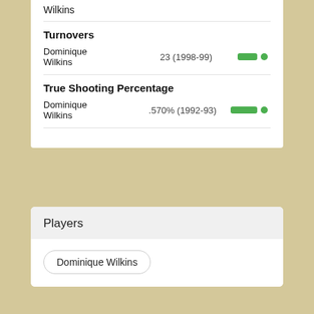Wilkins
Turnovers
Dominique Wilkins — 23 (1998-99)
True Shooting Percentage
Dominique Wilkins — .570% (1992-93)
Players
Dominique Wilkins